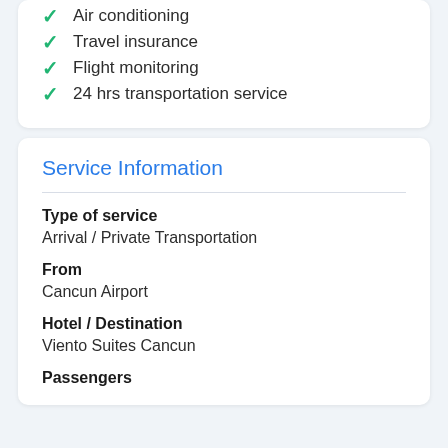Air conditioning
Travel insurance
Flight monitoring
24 hrs transportation service
Service Information
Type of service
Arrival / Private Transportation
From
Cancun Airport
Hotel / Destination
Viento Suites Cancun
Passengers